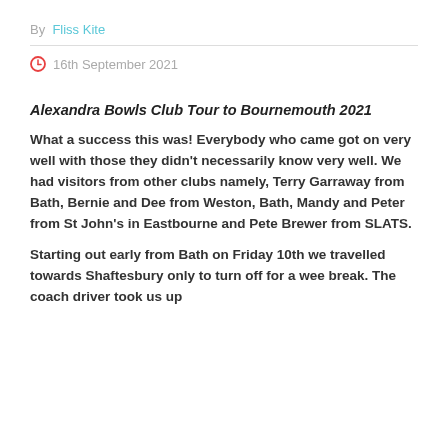By  Fliss Kite
16th September 2021
Alexandra Bowls Club Tour to Bournemouth 2021
What a success this was! Everybody who came got on very well with those they didn't necessarily know very well. We had visitors from other clubs namely, Terry Garraway from Bath, Bernie and Dee from Weston, Bath, Mandy and Peter from St John's in Eastbourne and Pete Brewer from SLATS.
Starting out early from Bath on Friday 10th we travelled towards Shaftesbury only to turn off for a wee break. The coach driver took us up